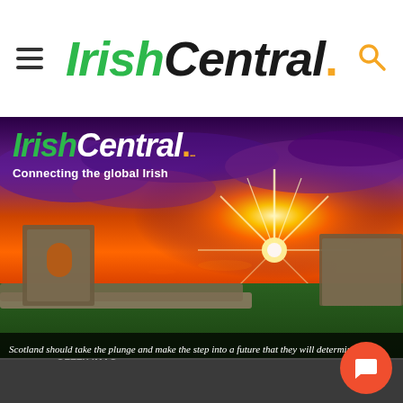IrishCentral.
[Figure (photo): Scenic Irish/Scottish landscape at sunset with stone ruins, dramatic purple and orange sky, star-burst sun effect. IrishCentral logo and tagline 'Connecting the global Irish' overlaid top-left.]
Scotland should take the plunge and make the step into a future that they will determine themselves. GETTY IMAGES